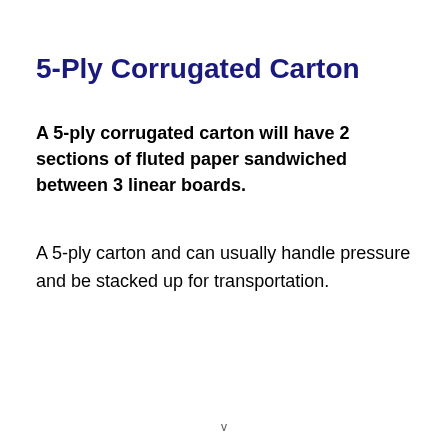5-Ply Corrugated Carton
A 5-ply corrugated carton will have 2 sections of fluted paper sandwiched between 3 linear boards.
A 5-ply carton and can usually handle pressure and be stacked up for transportation.
v